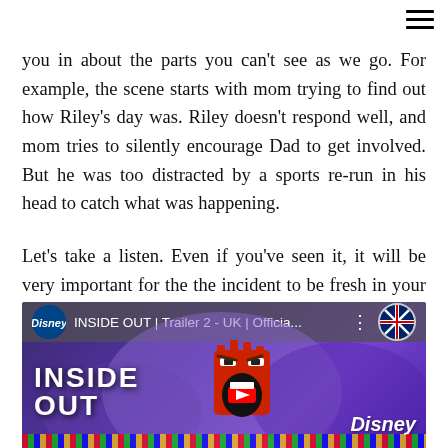you in about the parts you can't see as we go. For example, the scene starts with mom trying to find out how Riley's day was. Riley doesn't respond well, and mom tries to silently encourage Dad to get involved. But he was too distracted by a sports re-run in his head to catch what was happening.

Let's take a listen. Even if you've seen it, it will be very important for the the incident to be fresh in your mind.
[Figure (screenshot): YouTube video thumbnail for 'INSIDE OUT | Trailer 2 - UK | Officia...' featuring the character Anger from the Pixar film Inside Out, with Disney logo circle on left, UK flag circle on right, and Disney watermark bottom right.]